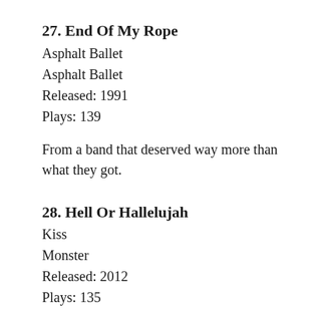27. End Of My Rope
Asphalt Ballet
Asphalt Ballet
Released: 1991
Plays: 139
From a band that deserved way more than what they got.
28. Hell Or Hallelujah
Kiss
Monster
Released: 2012
Plays: 135
The best song that Kiss or Paul